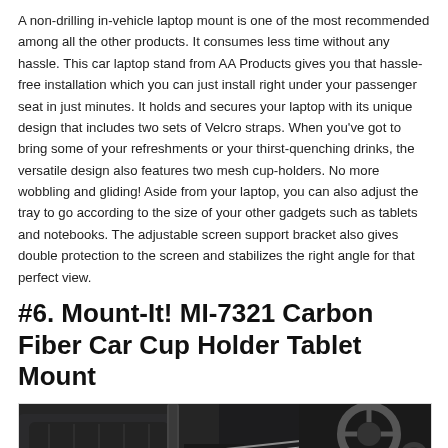A non-drilling in-vehicle laptop mount is one of the most recommended among all the other products. It consumes less time without any hassle. This car laptop stand from AA Products gives you that hassle-free installation which you can just install right under your passenger seat in just minutes. It holds and secures your laptop with its unique design that includes two sets of Velcro straps. When you've got to bring some of your refreshments or your thirst-quenching drinks, the versatile design also features two mesh cup-holders. No more wobbling and gliding! Aside from your laptop, you can also adjust the tray to go according to the size of your other gadgets such as tablets and notebooks. The adjustable screen support bracket also gives double protection to the screen and stabilizes the right angle for that perfect view.
#6. Mount-It! MI-7321 Carbon Fiber Car Cup Holder Tablet Mount
[Figure (photo): Car interior photo showing a dark leather seat with seatbelt, steering wheel, and dashboard components visible]